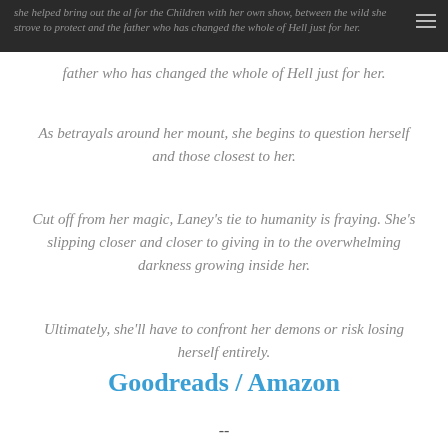she helped bring out the al for the Children with her own show between the wild she strove to protect and the father who has changed the whole of Hell just for her.
As betrayals around her mount, she begins to question herself and those closest to her.
Cut off from her magic, Laney's tie to humanity is fraying. She's slipping closer and closer to giving in to the overwhelming darkness growing inside her.
Ultimately, she'll have to confront her demons or risk losing herself entirely.
Goodreads / Amazon
--